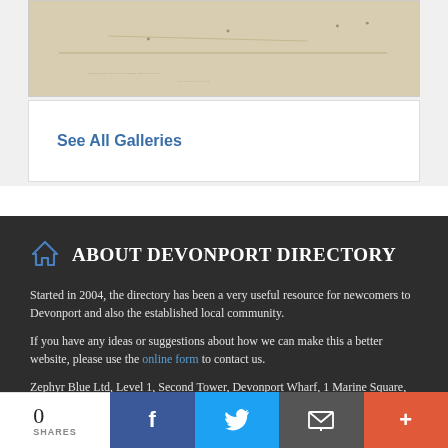[Figure (map): Partial view of a historical or topographic map with aged paper tones and faint lines]
See All Galleries
ABOUT DEVONPORT DIRECTORY
Started in 2004, the directory has been a very useful resource for newcomers to Devonport and also the established local community.
If you have any ideas or suggestions about how we can make this a better website, please use the online form to contact us.
Zephyr Blue Ltd, Level 1, Second Tower, Devonport Wharf, 1 Marine Square, Devonport, Auckland 0624
Phone: (021) 605 777
0 SHARES | Facebook | Twitter | Email | +